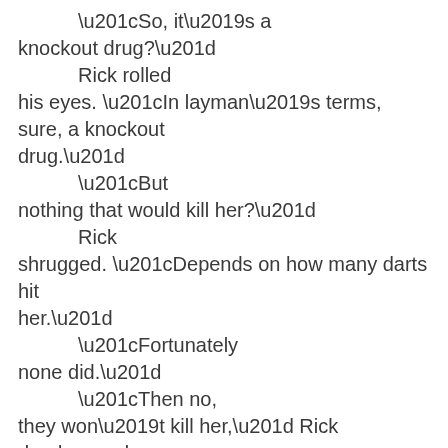“So, it’s a knockout drug?” Rick rolled his eyes. “In layman’s terms, sure, a knockout drug.” “But nothing that would kill her?” Rick shrugged. “Depends on how many darts hit her.” “Fortunately none did.” “Then no, they won’t kill her,” Rick deadpanned. Alexia snickered. Hunter rolled his eyes. “Wise guy.”